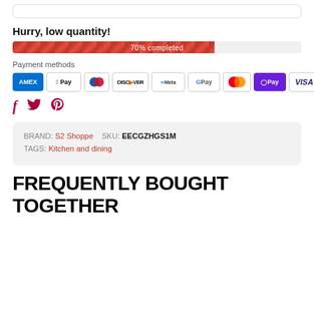Hurry, low quantity!
[Figure (infographic): Progress bar showing 70% completed, red striped fill on grey background]
Payment methods
[Figure (infographic): Payment method icons: AMEX, Apple Pay, Diners Club, Discover, Meta, Google Pay, Mastercard, OPay, VISA]
[Figure (infographic): Social media icons: Facebook, Twitter, Pinterest in dark red/crimson color]
BRAND: S2 Shoppe   SKU: EECGZHGS1M
TAGS: Kitchen and dining
FREQUENTLY BOUGHT TOGETHER